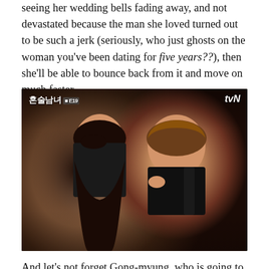seeing her wedding bells fading away, and not devastated because the man she loved turned out to be such a jerk (seriously, who just ghosts on the woman you've been dating for five years??), then she'll be able to bounce back from it and move on much faster.
[Figure (photo): Screenshot from Korean TV show '혼술남녀' (tvN). A young woman with long dark hair looks annoyed while a smiling young man with brown hair playfully pulls her hair from behind. Both are outdoors in an urban setting.]
And let's not forget Gong-myung, who is going to be absolutely devastated that his brother is dating